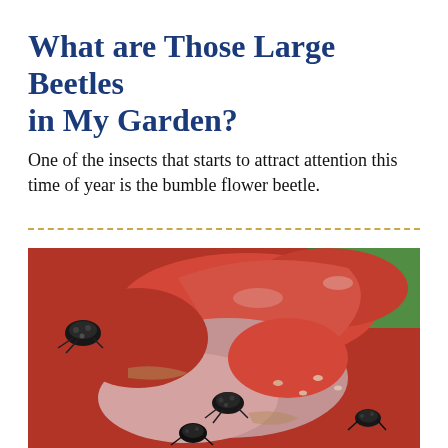What are Those Large Beetles in My Garden?
One of the insects that starts to attract attention this time of year is the bumble flower beetle.
[Figure (photo): Close-up photograph of beetles on a damaged red tomato or flower, showing dark black beetles crawling on red and pink flesh with seeds visible.]